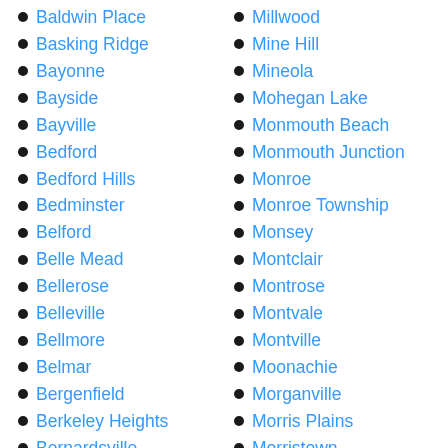Baldwin Place
Basking Ridge
Bayonne
Bayside
Bayville
Bedford
Bedford Hills
Bedminster
Belford
Belle Mead
Bellerose
Belleville
Bellmore
Belmar
Bergenfield
Berkeley Heights
Bernardsville
Bethpage
Blauvelt
Millwood
Mine Hill
Mineola
Mohegan Lake
Monmouth Beach
Monmouth Junction
Monroe
Monroe Township
Monsey
Montclair
Montrose
Montvale
Montville
Moonachie
Morganville
Morris Plains
Morristown
Mount Arlington
Mount Kisco